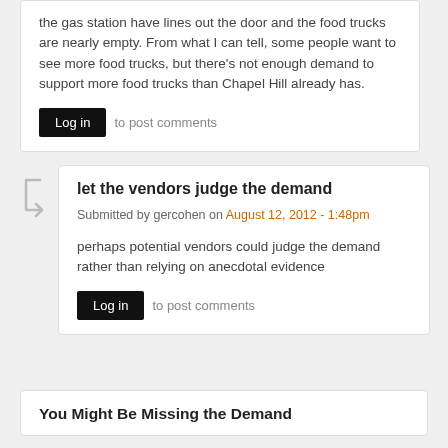the gas station have lines out the door and the food trucks are nearly empty. From what I can tell, some people want to see more food trucks, but there's not enough demand to support more food trucks than Chapel Hill already has.
Log in to post comments
let the vendors judge the demand
Submitted by gercohen on August 12, 2012 - 1:48pm
perhaps potential vendors could judge the demand rather than relying on anecdotal evidence
Log in to post comments
You Might Be Missing the Demand